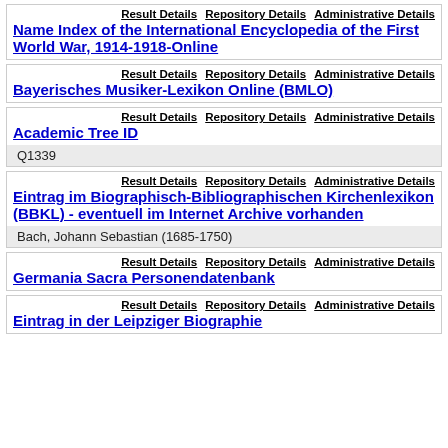Result Details   Repository Details   Administrative Details
Name Index of the International Encyclopedia of the First World War, 1914-1918-Online
Result Details   Repository Details   Administrative Details
Bayerisches Musiker-Lexikon Online (BMLO)
Result Details   Repository Details   Administrative Details
Academic Tree ID
Q1339
Result Details   Repository Details   Administrative Details
Eintrag im Biographisch-Bibliographischen Kirchenlexikon (BBKL) - eventuell im Internet Archive vorhanden
Bach, Johann Sebastian (1685-1750)
Result Details   Repository Details   Administrative Details
Germania Sacra Personendatenbank
Result Details   Repository Details   Administrative Details
Eintrag in der Leipziger Biographie